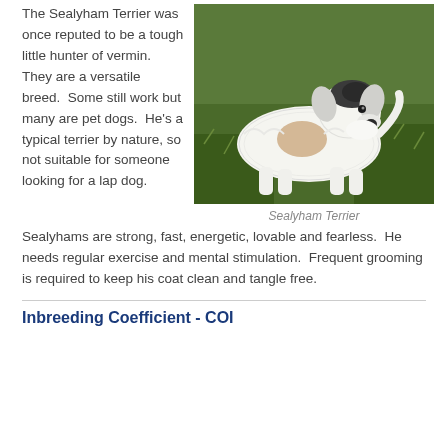The Sealyham Terrier was once reputed to be a tough little hunter of vermin.  They are a versatile breed.  Some still work but many are pet dogs.  He's a typical terrier by nature, so not suitable for someone looking for a lap dog. Sealyhams are strong, fast, energetic, lovable and fearless.  He needs regular exercise and mental stimulation.  Frequent grooming is required to keep his coat clean and tangle free.
[Figure (photo): A white Sealyham Terrier dog standing on grass, facing right, with fluffy white coat and dark markings on the head.]
Sealyham Terrier
Inbreeding Coefficient - COI